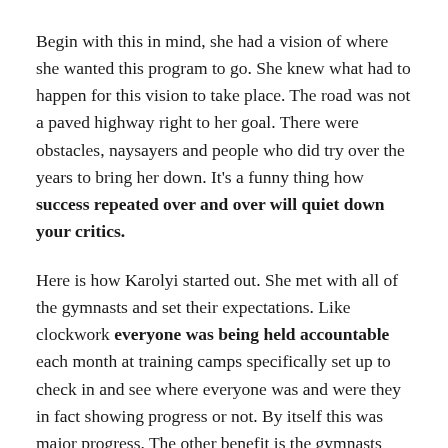Begin with this in mind, she had a vision of where she wanted this program to go. She knew what had to happen for this vision to take place. The road was not a paved highway right to her goal. There were obstacles, naysayers and people who did try over the years to bring her down. It's a funny thing how success repeated over and over will quiet down your critics.
Here is how Karolyi started out. She met with all of the gymnasts and set their expectations. Like clockwork everyone was being held accountable each month at training camps specifically set up to check in and see where everyone was and were they in fact showing progress or not. By itself this was major progress. The other benefit is the gymnasts began to develop into a team through the chemistry created by spending the time together each month at the training facilities. Then the barriers fell away